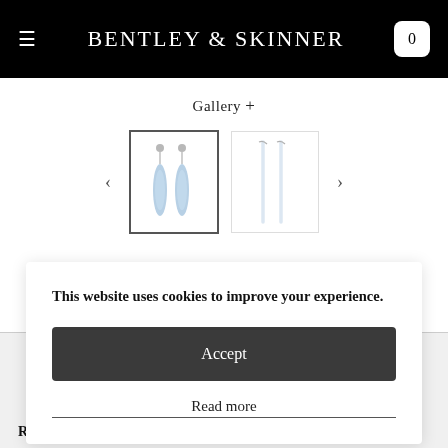BENTLEY & SKINNER
Gallery +
[Figure (photo): Two thumbnail images of drop earrings with light blue aquamarine stones. The first thumbnail is selected (dark border) showing a closer view, and the second shows a more distant outline view.]
This website uses cookies to improve your experience.
Accept
Read more
Reference No. S20542V